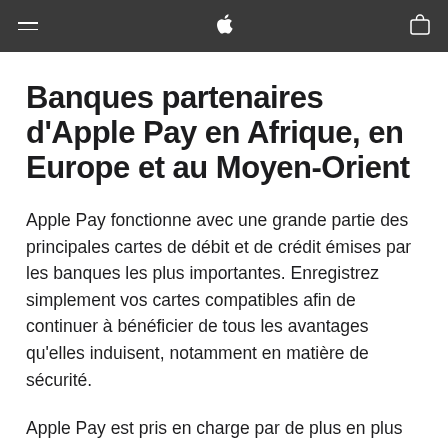Apple navigation bar with hamburger menu, Apple logo, and bag icon
Banques partenaires d'Apple Pay en Afrique, en Europe et au Moyen-Orient
Apple Pay fonctionne avec une grande partie des principales cartes de débit et de crédit émises par les banques les plus importantes. Enregistrez simplement vos cartes compatibles afin de continuer à bénéficier de tous les avantages qu'elles induisent, notamment en matière de sécurité.
Apple Pay est pris en charge par de plus en plus de